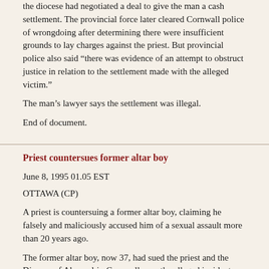the diocese had negotiated a deal to give the man a cash settlement. The provincial force later cleared Cornwall police of wrongdoing after determining there were insufficient grounds to lay charges against the priest. But provincial police also said “there was evidence of an attempt to obstruct justice in relation to the settlement made with the alleged victim.”
The man’s lawyer says the settlement was illegal.
End of document.
Priest countersues former altar boy
June 8, 1995  01.05 EST
OTTAWA (CP)
A priest is countersuing a former altar boy, claiming he falsely and maliciously accused him of a sexual assault more than 20 years ago.
The former altar boy, now 37, had sued the priest and the Diocese of Alexandria-Cornwall over the alleged incident.
The man filed the lawsuit after he accepted $32,000 from the diocese agreeing to drop the complaint.